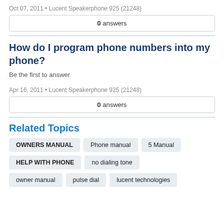Oct 07, 2011 • Lucent Speakerphone 925 (21248)
0 answers
How do I program phone numbers into my phone?
Be the first to answer
Apr 16, 2011 • Lucent Speakerphone 925 (21248)
0 answers
Related Topics
OWNERS MANUAL
Phone manual
5 Manual
HELP WITH PHONE
no dialing tone
owner manual
pulse dial
lucent technologies